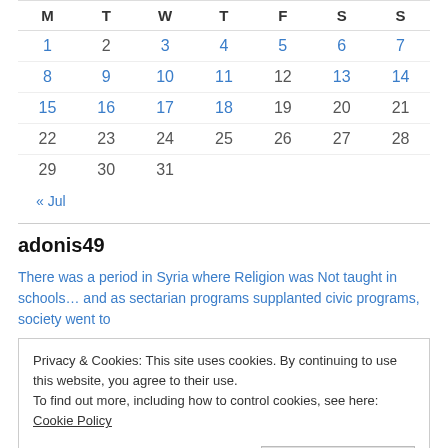| M | T | W | T | F | S | S |
| --- | --- | --- | --- | --- | --- | --- |
| 1 | 2 | 3 | 4 | 5 | 6 | 7 |
| 8 | 9 | 10 | 11 | 12 | 13 | 14 |
| 15 | 16 | 17 | 18 | 19 | 20 | 21 |
| 22 | 23 | 24 | 25 | 26 | 27 | 28 |
| 29 | 30 | 31 |  |  |  |  |
« Jul
adonis49
There was a period in Syria where Religion was Not taught in schools… and as sectarian programs supplanted civic programs, society went to
Privacy & Cookies: This site uses cookies. By continuing to use this website, you agree to their use.
To find out more, including how to control cookies, see here: Cookie Policy
Close and accept
Euler, a most prolific Mathematician?